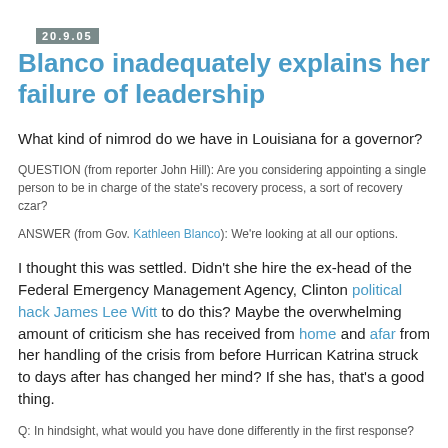20.9.05
Blanco inadequately explains her failure of leadership
What kind of nimrod do we have in Louisiana for a governor?
QUESTION (from reporter John Hill): Are you considering appointing a single person to be in charge of the state's recovery process, a sort of recovery czar?
ANSWER (from Gov. Kathleen Blanco): We're looking at all our options.
I thought this was settled. Didn't she hire the ex-head of the Federal Emergency Management Agency, Clinton political hack James Lee Witt to do this? Maybe the overwhelming amount of criticism she has received from home and afar from her handling of the crisis from before Hurrican Katrina struck to days after has changed her mind? If she has, that's a good thing.
Q: In hindsight, what would you have done differently in the first response?